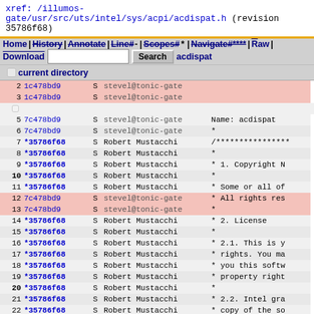xref: /illumos-gate/usr/src/uts/intel/sys/acpi/acdispat.h (revision 35786f68)
Home | History | Annotate | Line# | Scopes# | Navigate# | Raw | Download [ Search ] current directory
| line | revision | S | author | code |
| --- | --- | --- | --- | --- |
| 2 | 1c478bd9 | S | stevel@tonic-gate |  |
| 3 | 1c478bd9 | S | stevel@tonic-gate |  |
| 4 |  |  | current directory |  |
| 5 | 7c478bd9 | S | stevel@tonic-gate | Name: acdispat |
| 6 | 7c478bd9 | S | stevel@tonic-gate | * |
| 7 | *35786f68 | S | Robert Mustacchi | * ... |
| 8 | *35786f68 | S | Robert Mustacchi | * |
| 9 | *35786f68 | S | Robert Mustacchi | * 1. Copyright N |
| 10 | *35786f68 | S | Robert Mustacchi | * |
| 11 | *35786f68 | S | Robert Mustacchi | * Some or all of |
| 12 | 7c478bd9 | S | stevel@tonic-gate | * All rights res |
| 13 | 7c478bd9 | S | stevel@tonic-gate | * |
| 14 | *35786f68 | S | Robert Mustacchi | * 2. License |
| 15 | *35786f68 | S | Robert Mustacchi | * |
| 16 | *35786f68 | S | Robert Mustacchi | * 2.1. This is y |
| 17 | *35786f68 | S | Robert Mustacchi | * rights. You ma |
| 18 | *35786f68 | S | Robert Mustacchi | * you this softw |
| 19 | *35786f68 | S | Robert Mustacchi | * property right |
| 20 | *35786f68 | S | Robert Mustacchi | * |
| 21 | *35786f68 | S | Robert Mustacchi | * 2.2. Intel gra |
| 22 | *35786f68 | S | Robert Mustacchi | * copy of the so |
| 23 | *35786f68 | S | Robert Mustacchi | * irrevocable, p |
| 24 | *35786f68 | S | Robert Mustacchi | * base code dist |
| 25 | *35786f68 | S | Robert Mustacchi | * make derivativ |
| 26 | *35786f68 | S | Robert Mustacchi |  |